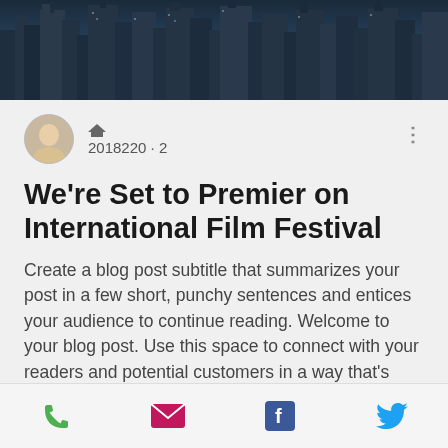[Figure (photo): Aerial/skyline photo of a city with tall skyscrapers, dark blue-gray tones]
2018220 · 2
We're Set to Premier on International Film Festival
Create a blog post subtitle that summarizes your post in a few short, punchy sentences and entices your audience to continue reading. Welcome to your blog post. Use this space to connect with your readers and potential customers in a way that's current and interesting. Think of